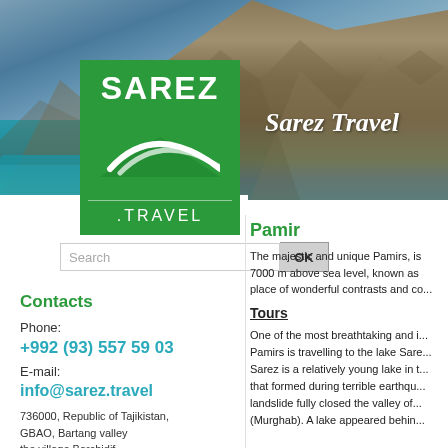[Figure (photo): Mountain landscape banner with turquoise lake water in foreground and rocky mountains in background]
[Figure (logo): Sarez Travel logo - green square with white SAREZ text, white swoosh/mountain shape, and .TRAVEL text below]
Sarez Travel
Search
Contacts
Phone:
+992 (93) 557 59 03
E-mail:
info@sarez.travel
736000, Republic of Tajikistan, GBAO, Bartang valley the village Barchidif
Pamir
The majestic and unique Pamirs, is 7000 m above sea level, known as place of wonderful contrasts and co...
Tours
One of the most breathtaking and i... Pamirs is travelling to the lake Sare... Sarez is a relatively young lake in t... that formed during terrible earthqu... landslide fully closed the valley of... (Murghab). A lake appeared behin...